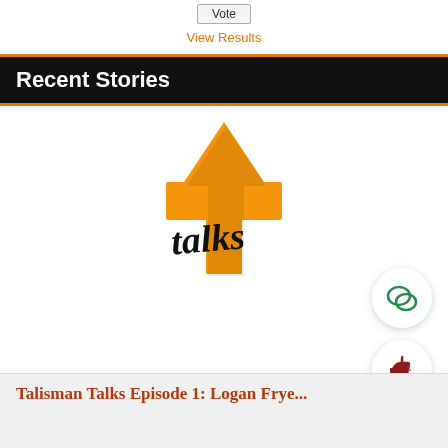Vote
View Results
Recent Stories
[Figure (logo): Talisman Talks logo — orange T-arrow shape with 'talks' in black script lettering]
Talisman Talks Episode 1: Logan Frye...